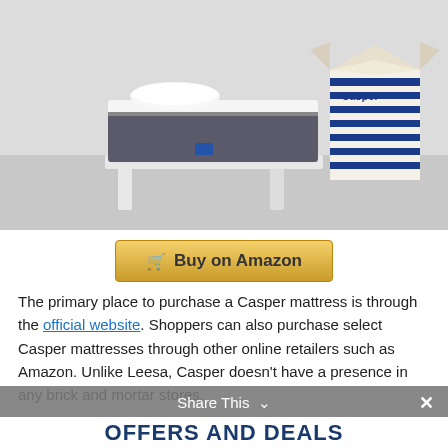[Figure (photo): A Casper mattress on a white bed frame next to a Casper branded shipping box with blue stripes, on a light gray background.]
Buy on Amazon
The primary place to purchase a Casper mattress is through the official website. Shoppers can also purchase select Casper mattresses through other online retailers such as Amazon. Unlike Leesa, Casper doesn't have a presence in any brick and mortar stores.
Share This ∨
OFFERS AND DEALS